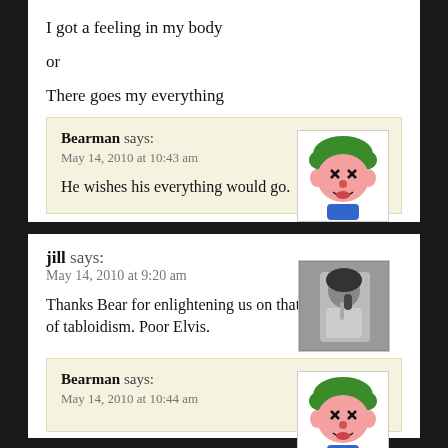I got a feeling in my body
or
There goes my everything
Bearman says:
May 14, 2010 at 10:43 am
He wishes his everything would go.
[Figure (illustration): Cartoon illustration of Bearman character with green hair and expressive face]
jill says:
May 14, 2010 at 9:20 am
Thanks Bear for enlightening us on that tidbit of tabloidism. Poor Elvis.
[Figure (photo): Grayscale photo of jill holding something near her face]
Bearman says:
May 14, 2010 at 10:44 am
[Figure (illustration): Cartoon illustration of Bearman character with green hair]